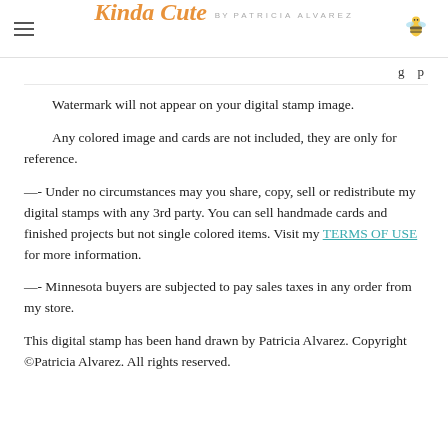Kinda Cute by Patricia Alvarez
g p
Watermark will not appear on your digital stamp image.
Any colored image and cards are not included, they are only for reference.
—- Under no circumstances may you share, copy, sell or redistribute my digital stamps with any 3rd party. You can sell handmade cards and finished projects but not single colored items. Visit my TERMS OF USE for more information.
—- Minnesota buyers are subjected to pay sales taxes in any order from my store.
This digital stamp has been hand drawn by Patricia Alvarez. Copyright ©Patricia Alvarez. All rights reserved.